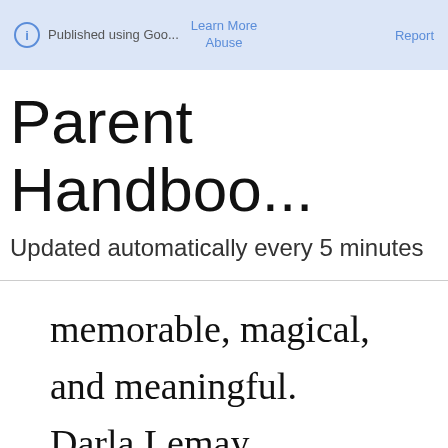ⓘ Published using Goo...  Learn More  Report  Abuse
Parent Handboo...
Updated automatically every 5 minutes
memorable, magical, and meaningful. Darla Lemay